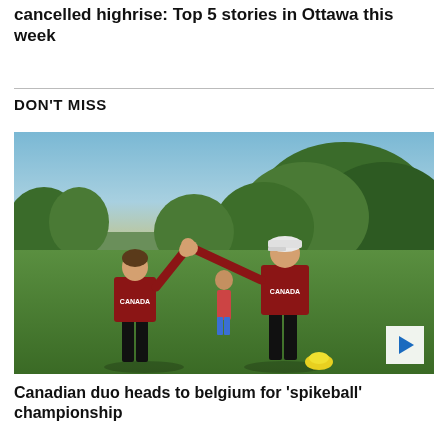cancelled highrise: Top 5 stories in Ottawa this week
DON'T MISS
[Figure (photo): Two people in Canada team jerseys high-fiving on an outdoor grass field, with trees in the background. A third person stands behind them. A play button overlay is visible in the bottom right corner.]
Canadian duo heads to belgium for 'spikeball' championship